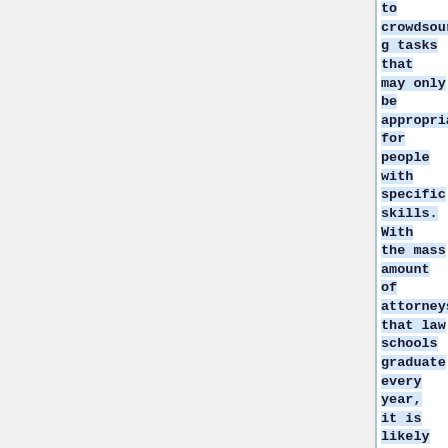to crowdsourcing tasks that may only be appropriate for people with specific skills. With the mass amount of attorneys that law schools graduate every year, it is likely many attorneys will graduate unemployed